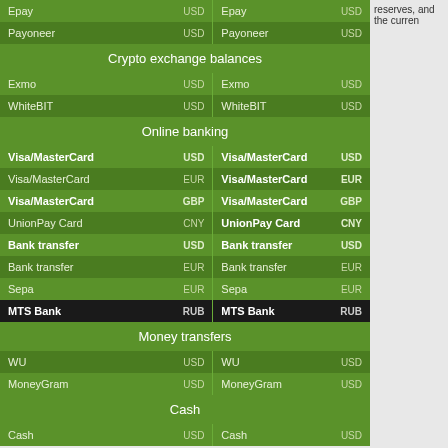| Method | Currency | Method | Currency |
| --- | --- | --- | --- |
| Epay | USD | Epay | USD |
| Payoneer | USD | Payoneer | USD |
| Crypto exchange balances |  |  |  |
| Exmo | USD | Exmo | USD |
| WhiteBIT | USD | WhiteBIT | USD |
| Online banking |  |  |  |
| Visa/MasterCard | USD | Visa/MasterCard | USD |
| Visa/MasterCard | EUR | Visa/MasterCard | EUR |
| Visa/MasterCard | GBP | Visa/MasterCard | GBP |
| UnionPay Card | CNY | UnionPay Card | CNY |
| Bank transfer | USD | Bank transfer | USD |
| Bank transfer | EUR | Bank transfer | EUR |
| Sepa | EUR | Sepa | EUR |
| MTS Bank | RUB | MTS Bank | RUB |
| Money transfers |  |  |  |
| WU | USD | WU | USD |
| MoneyGram | USD | MoneyGram | USD |
| Cash |  |  |  |
| Cash | USD | Cash | USD |
reserves, and the curren